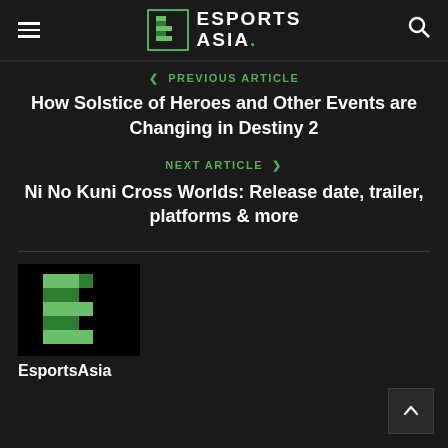ESPORTS ASIA.
< PREVIOUS ARTICLE
How Solstice of Heroes and Other Events are Changing in Destiny 2
NEXT ARTICLE >
Ni No Kuni Cross Worlds: Release date, trailer, platforms & more
[Figure (logo): EsportsAsia logo — green pixelated E letter on black background]
EsportsAsia